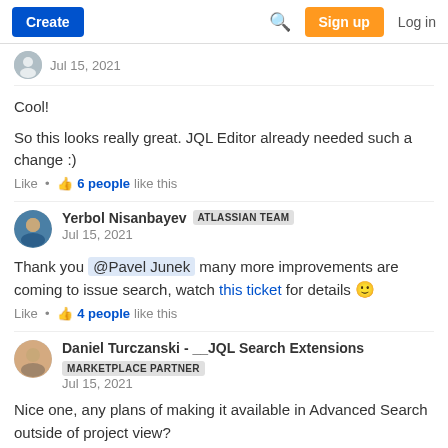Create | Search | Sign up | Log in
Jul 15, 2021
Cool!
So this looks really great. JQL Editor already needed such a change :)
Like • 6 people like this
Yerbol Nisanbayev ATLASSIAN TEAM
Jul 15, 2021
Thank you @Pavel Junek many more improvements are coming to issue search, watch this ticket for details 🙂
Like • 4 people like this
Daniel Turczanski - __JQL Search Extensions
MARKETPLACE PARTNER
Jul 15, 2021
Nice one, any plans of making it available in Advanced Search outside of project view?
Like • 21 people like this